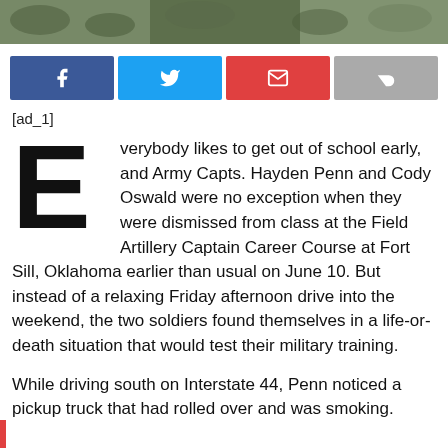[Figure (photo): Military soldiers in camouflage uniforms, partial photo strip at top]
[Figure (infographic): Social media sharing buttons: Facebook (blue), Twitter (light blue), Email (red), Share (gray)]
[ad_1]
Everybody likes to get out of school early, and Army Capts. Hayden Penn and Cody Oswald were no exception when they were dismissed from class at the Field Artillery Captain Career Course at Fort Sill, Oklahoma earlier than usual on June 10. But instead of a relaxing Friday afternoon drive into the weekend, the two soldiers found themselves in a life-or-death situation that would test their military training.
While driving south on Interstate 44, Penn noticed a pickup truck that had rolled over and was smoking.